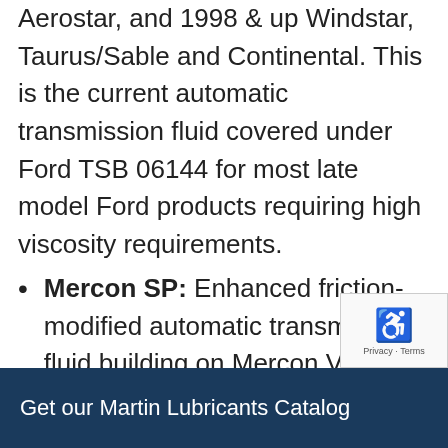Aerostar, and 1998 & up Windstar, Taurus/Sable and Continental. This is the current automatic transmission fluid covered under Ford TSB 06144 for most late model Ford products requiring high viscosity requirements.
Mercon SP: Enhanced friction-modified automatic transmission fluid building on Mercon V for Ford Torq Shift transmissions covered under Ford TSB 06144.
Mitsubishi Diamond SP-II & SP-III: Special formula ATFs for Mitsubishi transmissions, also Hyundai and Kia.
Get our Martin Lubricants Catalog